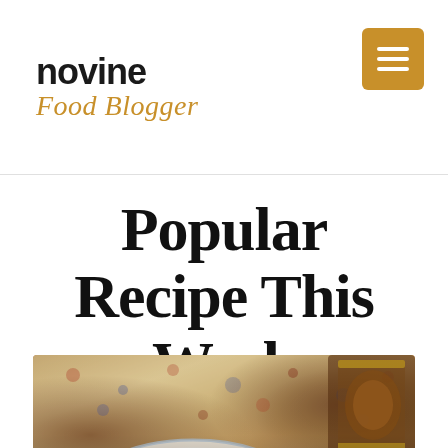novine Food Blogger
Popular Recipe This Week
[Figure (photo): Food photograph showing a plate with salad dish, fork and knife, on a decorative floral patterned tablecloth with a glass of tea in the upper right. Overlaid text reads 'SALAD' and '15 Healthy And Hearty Salad Recipes That']